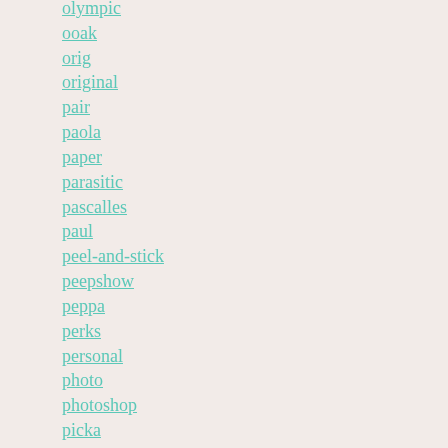olympic
ooak
orig
original
pair
paola
paper
parasitic
pascalles
paul
peel-and-stick
peepshow
peppa
perks
personal
photo
photoshop
picka
picka-berry